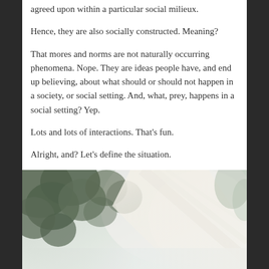agreed upon within a particular social milieux.
Hence, they are also socially constructed. Meaning?
That mores and norms are not naturally occurring phenomena. Nope. They are ideas people have, and end up believing, about what should or should not happen in a society, or social setting. And, what, prey, happens in a social setting? Yep.
Lots and lots of interactions. That’s fun.
Alright, and? Let’s define the situation.
[Figure (photo): Outdoor photograph showing trees with light filtering through branches and a misty, bright background suggesting sunlight through foliage and possibly a road or pathway.]